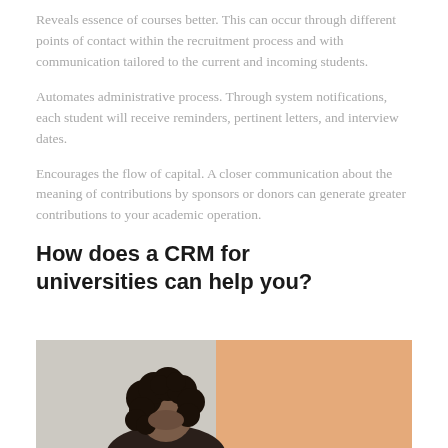Reveals essence of courses better. This can occur through different points of contact within the recruitment process and with communication tailored to the current and incoming students.
Automates administrative process. Through system notifications, each student will receive reminders, pertinent letters, and interview dates.
Encourages the flow of capital. A closer communication about the meaning of contributions by sponsors or donors can generate greater contributions to your academic operation.
How does a CRM for universities can help you?
[Figure (photo): A person with curly dark hair looking down, photographed from above, with a warm beige/tan background on the right side and a light grey-blue background on the left.]